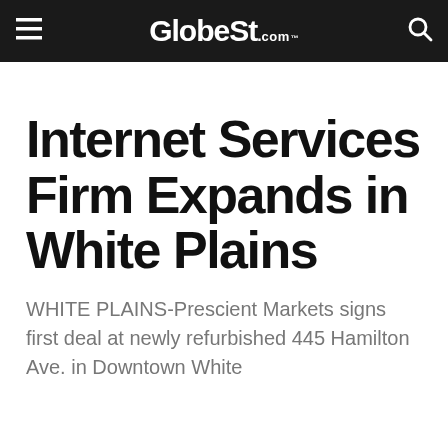GlobeSt.com
Internet Services Firm Expands in White Plains
WHITE PLAINS-Prescient Markets signs first deal at newly refurbished 445 Hamilton Ave. in Downtown White